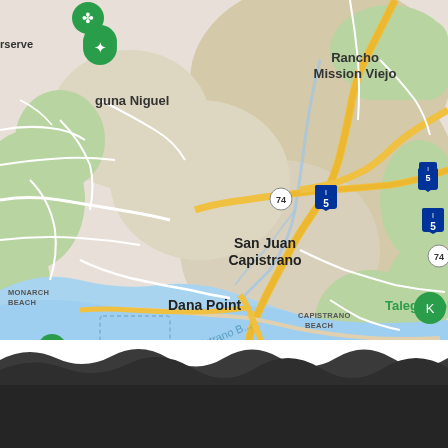[Figure (map): Google Maps view of the San Juan Capistrano / Dana Point / Capistrano Beach area in Orange County, California. Shows Interstate 5, Highway 74, Rancho Mission Viejo, Laguna Niguel, Monarch Beach, Talega Golf Club, Capistrano Beach, and Outlets at San Clemente. Features roads in yellow/orange, green areas, water in blue (Pacific Ocean coast), and standard Google Maps styling.]